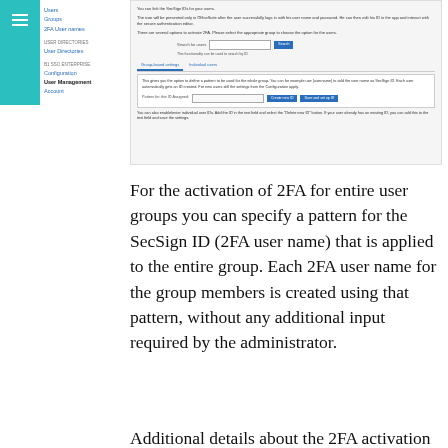[Figure (screenshot): Screenshot of a web application admin panel showing 2FA user management settings with navigation sidebar, search field, tabs, and a group configuration box with input and buttons.]
For the activation of 2FA for entire user groups you can specify a pattern for the SecSign ID (2FA user name) that is applied to the entire group. Each 2FA user name for the group members is created using that pattern, without any additional input required by the administrator.
Additional details about the 2FA activation f